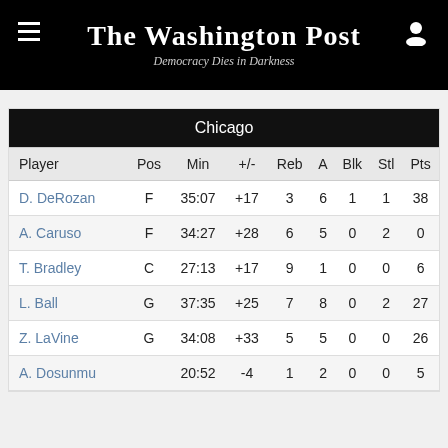The Washington Post — Democracy Dies in Darkness
| Player | Pos | Min | +/- | Reb | A | Blk | Stl | Pts |
| --- | --- | --- | --- | --- | --- | --- | --- | --- |
| D. DeRozan | F | 35:07 | +17 | 3 | 6 | 1 | 1 | 38 |
| A. Caruso | F | 34:27 | +28 | 6 | 5 | 0 | 2 | 0 |
| T. Bradley | C | 27:13 | +17 | 9 | 1 | 0 | 0 | 6 |
| L. Ball | G | 37:35 | +25 | 7 | 8 | 0 | 2 | 27 |
| Z. LaVine | G | 34:08 | +33 | 5 | 5 | 0 | 0 | 26 |
| A. Dosunmu |  | 20:52 | -4 | 1 | 2 | 0 | 0 | 5 |